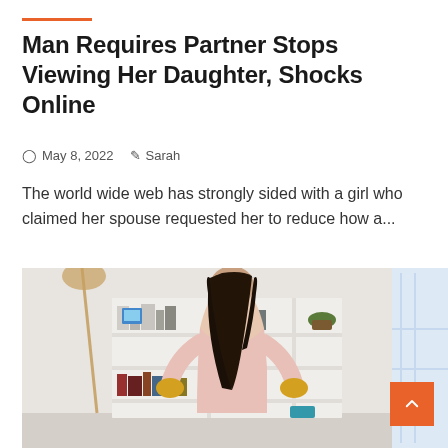Man Requires Partner Stops Viewing Her Daughter, Shocks Online
May 8, 2022   Sarah
The world wide web has strongly sided with a girl who claimed her spouse requested her to reduce how a...
[Figure (photo): Woman seen from behind with long dark hair, wearing a light pink shirt and yellow rubber gloves, hands on hips, standing in front of a white bookshelf with books and plants in a bright living room setting.]